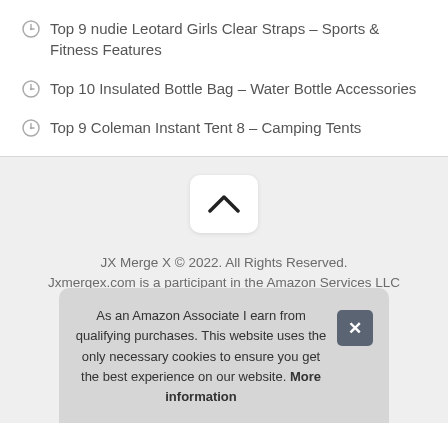Top 9 nudie Leotard Girls Clear Straps – Sports & Fitness Features
Top 10 Insulated Bottle Bag – Water Bottle Accessories
Top 9 Coleman Instant Tent 8 – Camping Tents
[Figure (other): Scroll-to-top button with chevron up icon]
JX Merge X © 2022. All Rights Reserved. Jxmergex.com is a participant in the Amazon Services LLC Ass...
As an Amazon Associate I earn from qualifying purchases. This website uses the only necessary cookies to ensure you get the best experience on our website. More information